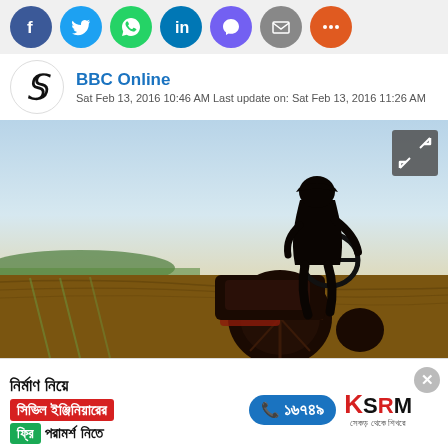[Figure (infographic): Social sharing icon bar with Facebook, Twitter, WhatsApp, LinkedIn, Viber, Email, and More buttons as colored circles]
BBC Online
Sat Feb 13, 2016 10:46 AM Last update on: Sat Feb 13, 2016 11:26 AM
[Figure (photo): Silhouette of a farmer on a tractor in a field at sunset/dusk, agricultural landscape with crop rows in background]
[Figure (infographic): Advertisement banner in Bengali: 'নির্মাণ নিয়ে সিভিল ইঞ্জিনিয়ারের ফ্রি পরামর্শ নিতে' with phone number ১৬৭৪৯ and KSRM logo. Close (X) button in top right.]